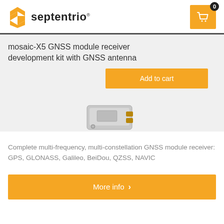[Figure (logo): Septentrio logo with orange spiral/arrow icon and company name text]
mosaic-X5 GNSS module receiver development kit with GNSS antenna
[Figure (photo): Photo of a GNSS module receiver hardware device, partially visible, silver/metal color with connectors]
Add to cart
Complete multi-frequency, multi-constellation GNSS module receiver: GPS, GLONASS, Galileo, BeiDou, QZSS, NAVIC
More info